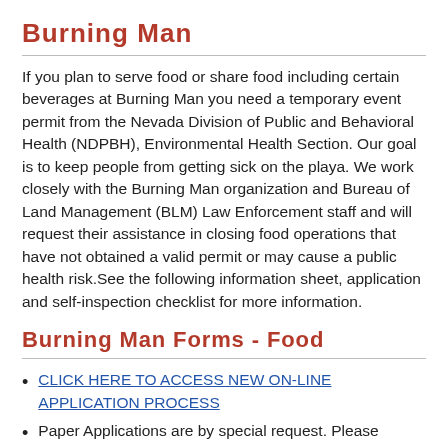Burning Man
If you plan to serve food or share food including certain beverages at Burning Man you need a temporary event permit from the Nevada Division of Public and Behavioral Health (NDPBH), Environmental Health Section. Our goal is to keep people from getting sick on the playa. We work closely with the Burning Man organization and Bureau of Land Management (BLM) Law Enforcement staff and will request their assistance in closing food operations that have not obtained a valid permit or may cause a public health risk.See the following information sheet, application and self-inspection checklist for more information.
Burning Man Forms - Food
CLICK HERE TO ACCESS NEW ON-LINE APPLICATION PROCESS
Paper Applications are by special request. Please